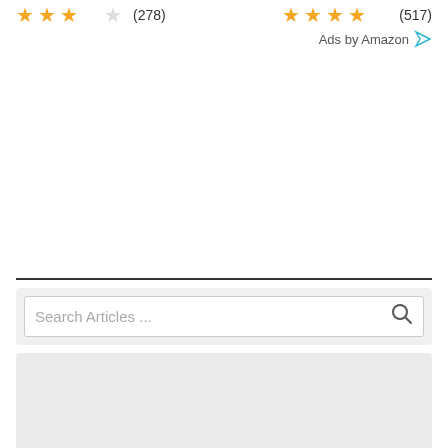[Figure (other): Star rating showing 3.5 out of 5 stars with (278) reviews]
[Figure (other): Star rating showing 4.5 out of 5 stars with (517) reviews]
Ads by Amazon
[Figure (other): Search Articles ... input box with search icon]
[Figure (other): Gray content/ad placeholder box]